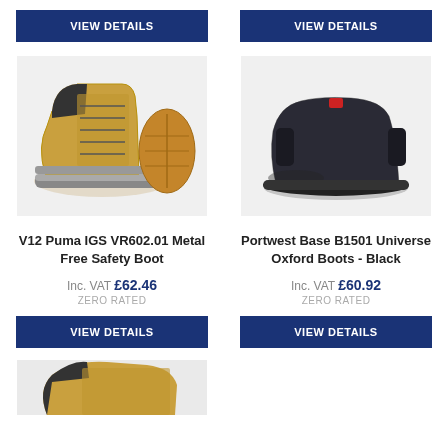[Figure (photo): VIEW DETAILS button top left - navy blue button]
[Figure (photo): VIEW DETAILS button top right - navy blue button]
[Figure (photo): V12 Puma IGS VR602.01 safety boot - tan/honey colored high-top work boot with sole view]
[Figure (photo): Portwest Base B1501 Universe Oxford Boots - Black suede chelsea boot style]
V12 Puma IGS VR602.01 Metal Free Safety Boot
Inc. VAT £62.46 ZERO RATED
Portwest Base B1501 Universe Oxford Boots - Black
Inc. VAT £60.92 ZERO RATED
[Figure (photo): VIEW DETAILS button bottom left - navy blue button]
[Figure (photo): VIEW DETAILS button bottom right - navy blue button]
[Figure (photo): Partial product image at bottom left - dark boot partially visible]